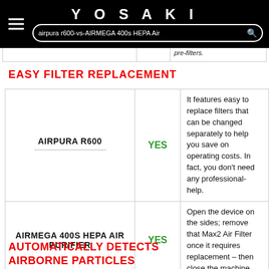YOSAKI — airpura r600-vs-AIRMEGA 400s HEPA Air [search bar]
|  |  | pre-filters. |
| --- | --- | --- |
EASY FILTER REPLACEMENT
| Product | Yes/No | Description |
| --- | --- | --- |
| AIRPURA R600 | YES | It features easy to replace filters that can be changed separately to help you save on operating costs. In fact, you don't need any professional-help. |
| AIRMEGA 400S HEPA AIR PURIFIER | YES | Open the device on the sides; remove that Max2 Air Filter once it requires replacement – then close the machine |
AUTOMATICALLY DETECTS AIRBORNE PARTICLES